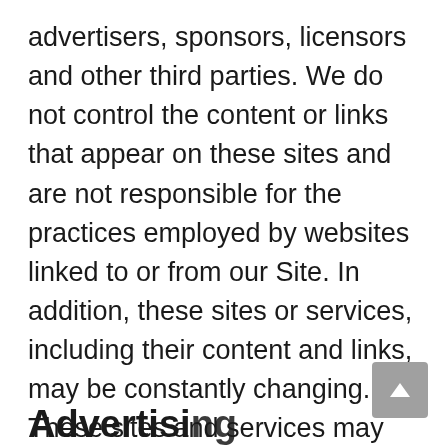advertisers, sponsors, licensors and other third parties. We do not control the content or links that appear on these sites and are not responsible for the practices employed by websites linked to or from our Site. In addition, these sites or services, including their content and links, may be constantly changing. These sites and services may have their own privacy policies and customer service policies. Browsing and interaction on any other website, including websites which have a link to our Site, is subject to that website's own terms and policies.
Advertising